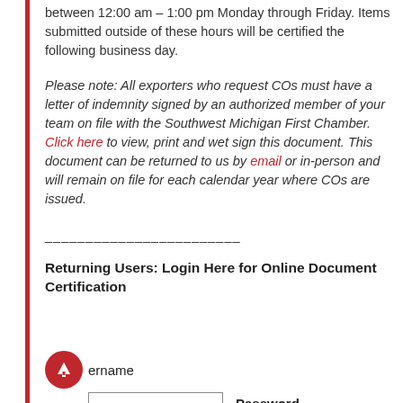between 12:00 am – 1:00 pm Monday through Friday. Items submitted outside of these hours will be certified the following business day.
Please note: All exporters who request COs must have a letter of indemnity signed by an authorized member of your team on file with the Southwest Michigan First Chamber. Click here to view, print and wet sign this document. This document can be returned to us by email or in-person and will remain on file for each calendar year where COs are issued.
________________________
Returning Users: Login Here for Online Document Certification
Username   Password